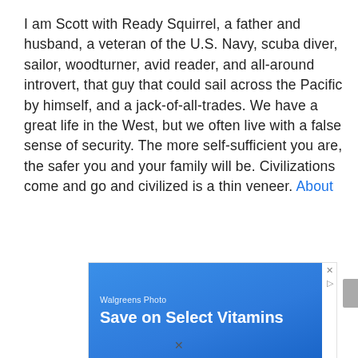I am Scott with Ready Squirrel, a father and husband, a veteran of the U.S. Navy, scuba diver, sailor, woodturner, avid reader, and all-around introvert, that guy that could sail across the Pacific by himself, and a jack-of-all-trades. We have a great life in the West, but we often live with a false sense of security. The more self-sufficient you are, the safer you and your family will be. Civilizations come and go and civilized is a thin veneer. About
[Figure (screenshot): Advertisement banner for Walgreens Photo: 'Save on Select Vitamins' on a blue gradient background with close and play buttons]